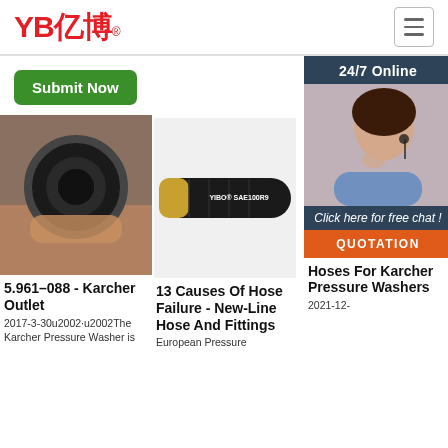YB亿博® — navigation header with hamburger menu
[Figure (screenshot): Green Submit Now button and 24/7 Online chat widget with customer support agent photo]
[Figure (photo): Close-up of a black rubber hose end held by hand]
[Figure (photo): YIBO SAE100R9 black hydraulic hose product photo]
[Figure (photo): Customer service agent photo with 24/7 Online banner, Click here for free chat!, and QUOTATION button]
5.961–088 - Karcher Outlet
2017-3-30u2002·u2002The Karcher Pressure Washer is
13 Causes Of Hose Failure - New-Line Hose And Fittings
European Pressure
Hoses For Karcher Pressure Washers
2021-12-